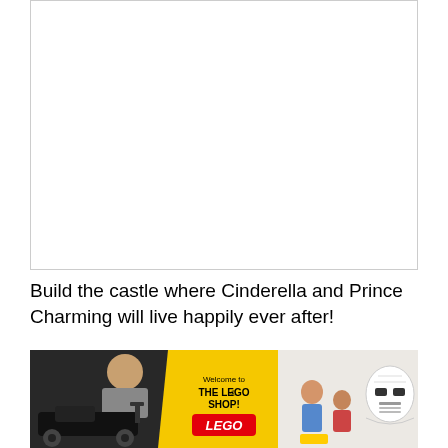[Figure (photo): Large white/blank image placeholder box with a thin border, representing a LEGO Cinderella castle set photo.]
Build the castle where Cinderella and Prince Charming will live happily ever after!
[Figure (photo): LEGO Shop banner advertisement showing three panels: a man with a black LEGO Technic car on the left, a yellow triangular 'Welcome to THE LEGO SHOP!' sign with LEGO logo in the center, and a StormTrooper helmet LEGO set on the right with children playing in background.]